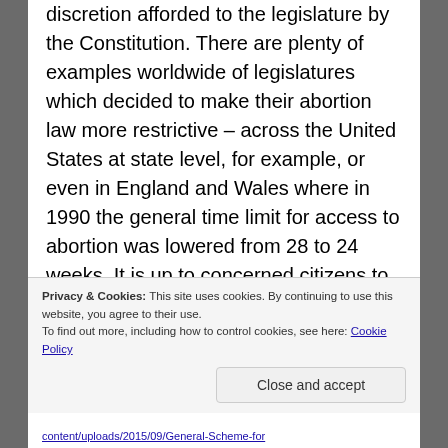of 1983 resulted, within the wide margin of discretion afforded to the legislature by the Constitution. There are plenty of examples worldwide of legislatures which decided to make their abortion law more restrictive – across the United States at state level, for example, or even in England and Wales where in 1990 the general time limit for access to abortion was lowered from 28 to 24 weeks. It is up to concerned citizens to hold their politicians accountable for legislative decisions – pro-life activists in Ireland have had considerable success in this respect.
Privacy & Cookies: This site uses cookies. By continuing to use this website, you agree to their use.
To find out more, including how to control cookies, see here: Cookie Policy
Close and accept
content/uploads/2015/09/General-Scheme-for